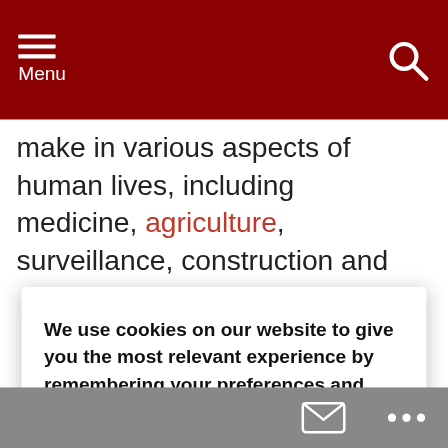Menu
make in various aspects of human lives, including medicine, agriculture, surveillance, construction and
We use cookies on our website to give you the most relevant experience by remembering your preferences and repeat visits. By clicking "Accept", you consent to
[Figure (screenshot): Mobile advertisement overlay showing tropical island scene with text 'Get your passport ready', with a travel app icon and ad controls]
ance," he said.
ble standing